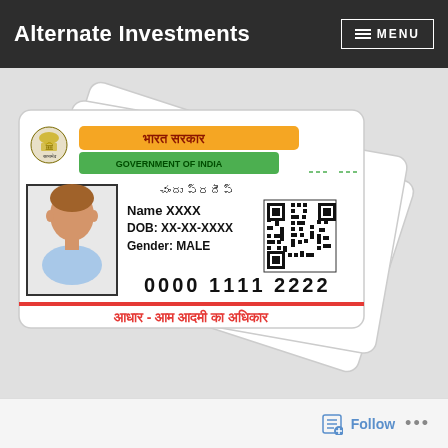Alternate Investments  ≡ MENU
[Figure (illustration): Aadhaar card fan display showing multiple Aadhaar cards fanned out. The front card shows: National Emblem, orange and green stripe design, 'भारत सरकार' (Government of India), 'GOVERNMENT OF INDIA', Telugu text 'చందు ప్రదీప్', Name XXXX, DOB: XX-XX-XXXX, Gender: MALE, Aadhaar number 0000 1111 2222, QR code, and Hindi text 'आधार - आम आदमी का अधिकार' at bottom.]
Follow ...